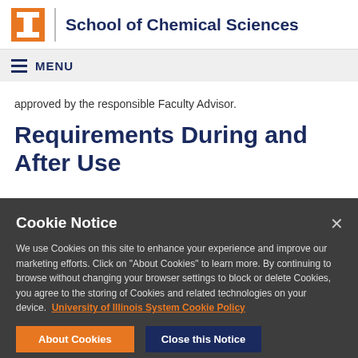School of Chemical Sciences
MENU
approved by the responsible Faculty Advisor.
Requirements During and After Use
Cookie Notice
We use Cookies on this site to enhance your experience and improve our marketing efforts. Click on “About Cookies” to learn more. By continuing to browse without changing your browser settings to block or delete Cookies, you agree to the storing of Cookies and related technologies on your device.  University of Illinois System Cookie Policy
About Cookies
Close this Notice